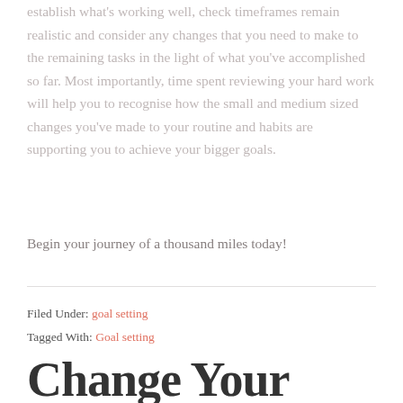establish what's working well, check timeframes remain realistic and consider any changes that you need to make to the remaining tasks in the light of what you've accomplished so far. Most importantly, time spent reviewing your hard work will help you to recognise how the small and medium sized changes you've made to your routine and habits are supporting you to achieve your bigger goals.
Begin your journey of a thousand miles today!
Filed Under: goal setting
Tagged With: Goal setting
Change Your Life in 90